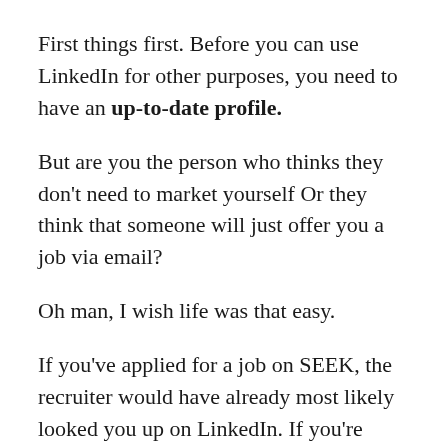First things first. Before you can use LinkedIn for other purposes, you need to have an up-to-date profile.
But are you the person who thinks they don't need to market yourself Or they think that someone will just offer you a job via email?
Oh man, I wish life was that easy.
If you've applied for a job on SEEK, the recruiter would have already most likely looked you up on LinkedIn. If you're trying to see if there are opportunities within your connection, the person with the potential job would have already looked you up on...